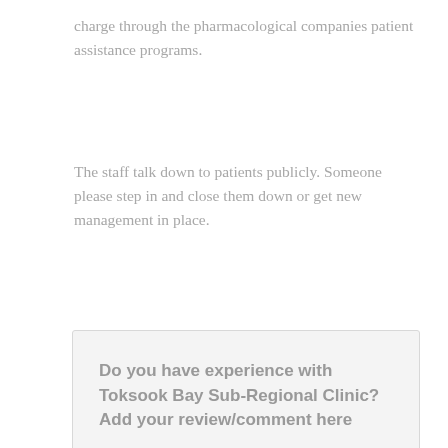charge through the pharmacological companies patient assistance programs.
The staff talk down to patients publicly. Someone please step in and close them down or get new management in place.
Do you have experience with Toksook Bay Sub-Regional Clinic? Add your review/comment here